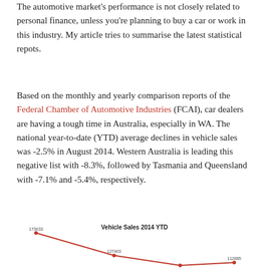The automotive market's performance is not closely related to personal finance, unless you're planning to buy a car or work in this industry. My article tries to summarise the latest statistical repots.
Based on the monthly and yearly comparison reports of the Federal Chamber of Automotive Industries (FCAI), car dealers are having a tough time in Australia, especially in WA. The national year-to-date (YTD) average declines in vehicle sales was -2.5% in August 2014. Western Australia is leading this negative list with -8.3%, followed by Tasmania and Queensland with -7.1% and -5.4%, respectively.
[Figure (line-chart): Vehicle Sales 2014 YTD]